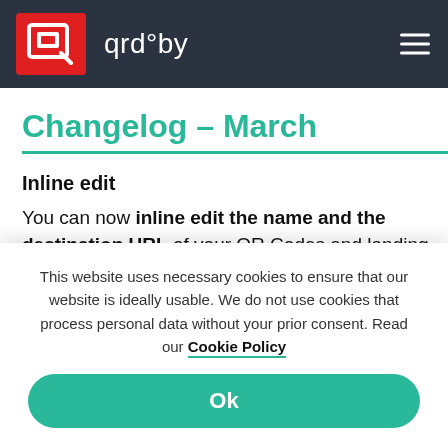qrd°by
Changelog – March
Inline edit
You can now inline edit the name and the destination URL of your QR Codes and landing
This website uses necessary cookies to ensure that our website is ideally usable. We do not use cookies that process personal data without your prior consent. Read our Cookie Policy
Ok